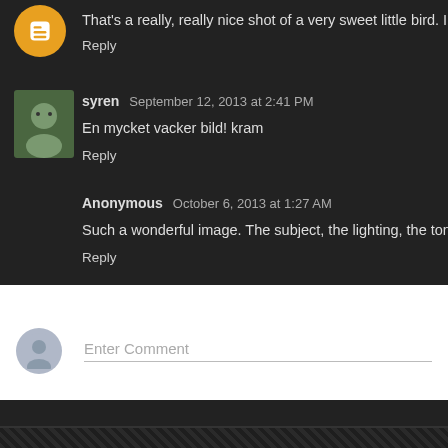That's a really, really nice shot of a very sweet little bird. I th...
Reply
syren  September 12, 2013 at 2:41 PM
En mycket vacker bild! kram
Reply
Anonymous  October 6, 2013 at 1:27 AM
Such a wonderful image. The subject, the lighting, the tones...
Reply
Enter Comment